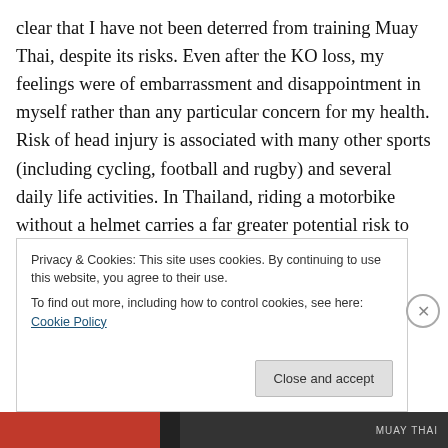clear that I have not been deterred from training Muay Thai, despite its risks. Even after the KO loss, my feelings were of embarrassment and disappointment in myself rather than any particular concern for my health. Risk of head injury is associated with many other sports (including cycling, football and rugby) and several daily life activities. In Thailand, riding a motorbike without a helmet carries a far greater potential risk to health than fighting Muay Thai. Those who are concerned about head trauma should not be put off from the sport. It is quite possible to train without head contact and receive the same health benefits.
Privacy & Cookies: This site uses cookies. By continuing to use this website, you agree to their use. To find out more, including how to control cookies, see here: Cookie Policy